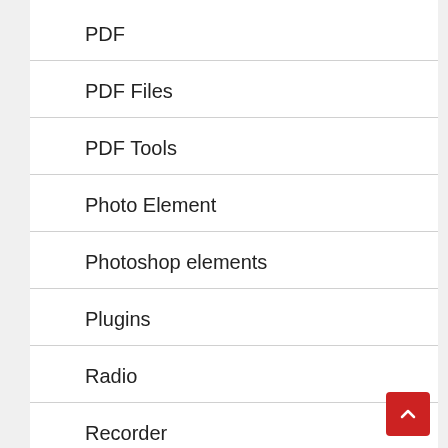PDF
PDF Files
PDF Tools
Photo Element
Photoshop elements
Plugins
Radio
Recorder
Recording